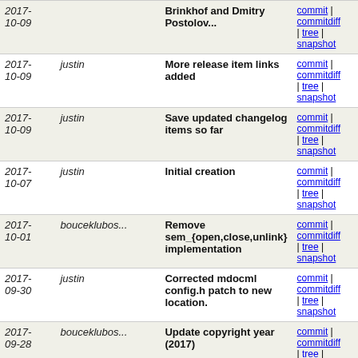| Date | Author | Message | Links |
| --- | --- | --- | --- |
| 2017-10-09 |  | Brinkhof and Dmitry Postolov... | commit | commitdiff | tree | snapshot |
| 2017-10-09 | justin | More release item links added | commit | commitdiff | tree | snapshot |
| 2017-10-09 | justin | Save updated changelog items so far | commit | commitdiff | tree | snapshot |
| 2017-10-07 | justin | Initial creation | commit | commitdiff | tree | snapshot |
| 2017-10-01 | bouceklubos... | Remove sem_{open,close,unlink} implementation | commit | commitdiff | tree | snapshot |
| 2017-09-30 | justin | Corrected mdocml config.h patch to new location. | commit | commitdiff | tree | snapshot |
| 2017-09-28 | bouceklubos... | Update copyright year (2017) | commit | commitdiff | tree | snapshot |
| 2017-09-27 | tuxillo | (no commit message) | commit | commitdiff | tree | snapshot |
| 2017-09-18 | ferz | fix the broadcom list markup | commit | commitdiff | tree | snapshot |
| 2017-09-18 | ferz | (no commit message) | commit | commitdiff | tree | snapshot |
| 2017-... | ferz | Broadcom WLAN driver | commit | |